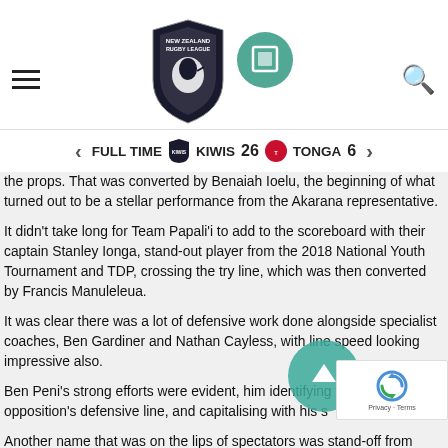New Zealand Rugby League logo, hamburger menu, search icon
FULL TIME   KIWIS 26   TONGA 6
the props. That was converted by Benaiah Ioelu, the beginning of what turned out to be a stellar performance from the Akarana representative.
It didn't take long for Team Papali'i to add to the scoreboard with their captain Stanley Ionga, stand-out player from the 2018 National Youth Tournament and TDP, crossing the try line, which was then converted by Francis Manuleleua.
It was clear there was a lot of defensive work done alongside specialist coaches, Ben Gardiner and Nathan Cayless, with line speed looking impressive also.
Ben Peni's strong efforts were evident, him identifying the his opposition's defensive line, and capitalising with his s
Another name that was on the lips of spectators was stand-off from